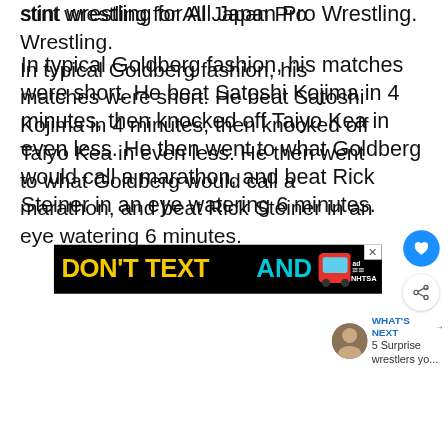stint wrestling for All Japan Pro Wrestling.
In typical Goldberg fashion, his matches were short. He beat Satoshi Kojima in 4 minutes, then knocked off Taiyo Kea in even less. He then went to what Goldberg would call a marathon, and beat Rick Steiner in an eye watering 6 minutes.
[Figure (infographic): Advertisement banner: DON'T TEXT AND [car emoji] with NHTSA logo on black background with an X close button]
[Figure (infographic): What's Next panel showing a thumbnail image of a wrestler and text '5 Surprise wrestlers yo...']
[Figure (infographic): Bottom advertisement bar on dark background: Call 211 | Visit 211.org with 2-1-1 logo and person photo, with Wealthsimple logo on right]